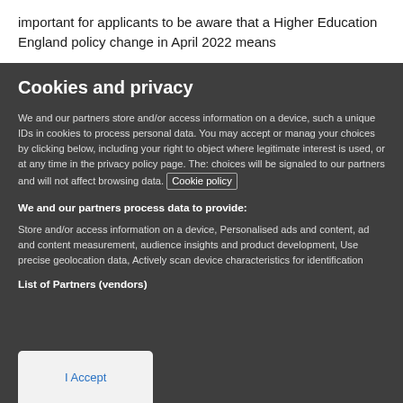important for applicants to be aware that a Higher Education England policy change in April 2022 means
Cookies and privacy
We and our partners store and/or access information on a device, such a unique IDs in cookies to process personal data. You may accept or manag your choices by clicking below, including your right to object where legitimate interest is used, or at any time in the privacy policy page. The: choices will be signaled to our partners and will not affect browsing data. Cookie policy
We and our partners process data to provide:
Store and/or access information on a device, Personalised ads and content, ad and content measurement, audience insights and product development, Use precise geolocation data, Actively scan device characteristics for identification
List of Partners (vendors)
I Accept